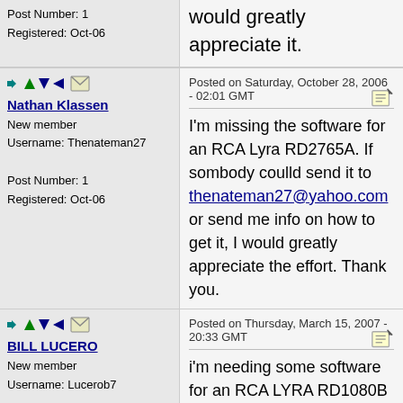Post Number: 1
Registered: Oct-06
would greatly appreciate it.
Nathan Klassen
New member
Username: Thenateman27
Post Number: 1
Registered: Oct-06
Posted on Saturday, October 28, 2006 - 02:01 GMT
I'm missing the software for an RCA Lyra RD2765A. If sombody coulld send it to thenateman27@yahoo.com or send me info on how to get it, I would greatly appreciate the effort. Thank you.
BILL LUCERO
New member
Username: Lucerob7
Post Number: 1
Posted on Thursday, March 15, 2007 - 20:33 GMT
i'm needing some software for an RCA LYRA RD1080B MP3 player. i would very